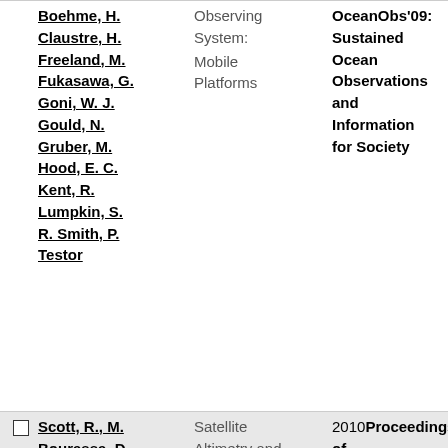|  | Authors | Title | Publication |  |
| --- | --- | --- | --- | --- |
|  | Boehme, H.
Claustre, H.
Freeland, M.
Fukasawa, G.
Goni, W. J.
Gould, N.
Gruber, M.
Hood, E. C.
Kent, R.
Lumpkin, S.
R. Smith, P.
Testor | Observing System: Mobile Platforms | OceanObs'09: Sustained Ocean Observations and Information for Society |  |
| ☐ | Scott, R., M.
Bourassa, D.
Chelton, P.
Cipollini, R. | Satellite Altimetry and Key Observations: | 2010 Proceedings of OceanObs'09: Sustained | 2 |